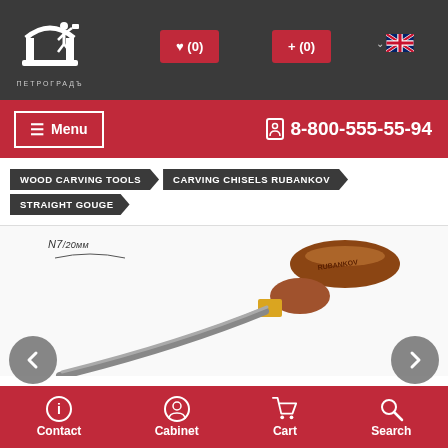[Figure (logo): Petrograd store logo - white silhouette of worker with hammer on dark background, text ПЕТРОГRADЪ below]
♥ (0)  + (0)  🇬🇧  ☰ Menu  8-800-555-55-94
WOOD CARVING TOOLS › CARVING CHISELS RUBANKOV › STRAIGHT GOUGE
[Figure (photo): Straight gouge woodcarving chisel N7/20mm with wooden brown handle and brass collar, diagonal orientation, label arc annotation showing N7/20mm]
Contact  Cabinet  Cart  Search